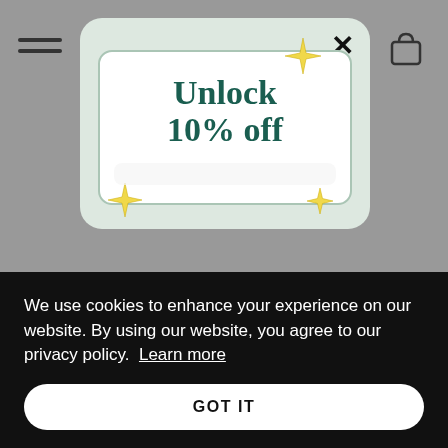[Figure (screenshot): Website background showing hamburger menu icon top-left and shopping bag icon top-right on gray background]
[Figure (infographic): Modal popup with light green/mint background showing an offer card with 'Unlock 10% off' text in dark teal serif font, decorated with yellow four-pointed star sparkles at corners, close X button top-right]
We use cookies to enhance your experience on our website. By using our website, you agree to our privacy policy. Learn more
GOT IT